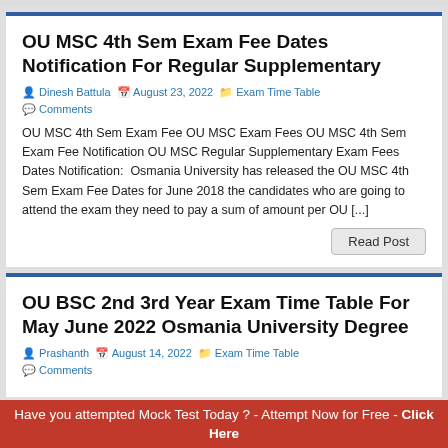OU MSC 4th Sem Exam Fee Dates Notification For Regular Supplementary
Dinesh Battula | August 23, 2022 | Exam Time Table | Comments
OU MSC 4th Sem Exam Fee OU MSC Exam Fees OU MSC 4th Sem Exam Fee Notification OU MSC Regular Supplementary Exam Fees Dates Notification:  Osmania University has released the OU MSC 4th Sem Exam Fee Dates for June 2018 the candidates who are going to attend the exam they need to pay a sum of amount per OU [...]
OU BSC 2nd 3rd Year Exam Time Table For May June 2022 Osmania University Degree
Prashanth | August 14, 2022 | Exam Time Table | Comments
Have you attempted Mock Test Today ? - Attempt Now for Free - Click Here